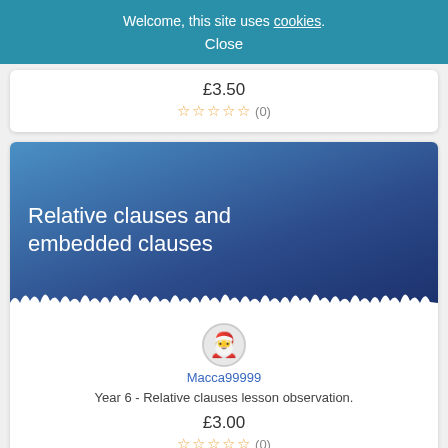Welcome, this site uses cookies. Close
£3.50
☆☆☆☆☆ (0)
[Figure (illustration): Blue gradient banner with white text: Relative clauses and embedded clauses, with snow/torn paper effect at the bottom]
Macca99999
Year 6 - Relative clauses lesson observation.
£3.00
☆☆☆☆☆ (0)